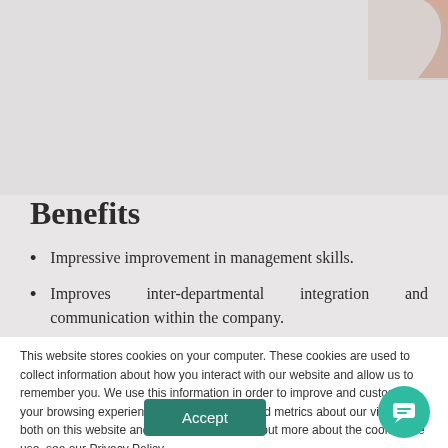[Figure (photo): Gray background area with a hand visible in the upper right corner]
Benefits
Impressive improvement in management skills.
Improves inter-departmental integration and communication within the company.
This website stores cookies on your computer. These cookies are used to collect information about how you interact with our website and allow us to remember you. We use this information in order to improve and customize your browsing experience and for analytics and metrics about our visitors both on this website and other media. To find out more about the cookies we use, see our Privacy Policy.